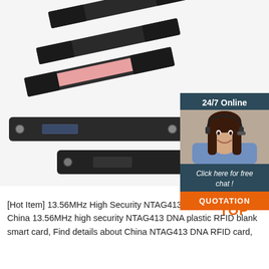[Figure (photo): Multiple black plastic RFID card holders/tags shown at angles, with one open to reveal a pink RFID card inside. White background product photography.]
[Figure (infographic): Customer service chat widget overlay: dark blue box with '24/7 Online' header, photo of smiling woman with headset, italic text 'Click here for free chat!', and orange 'QUOTATION' button.]
[Figure (logo): Orange 'TOP' logo with three orange dots above the word TOP in orange text.]
[Hot Item] 13.56MHz High Security NTAG413 DNA Plastic China 13.56MHz high security NTAG413 DNA plastic RFID blank smart card, Find details about China NTAG413 DNA RFID card,